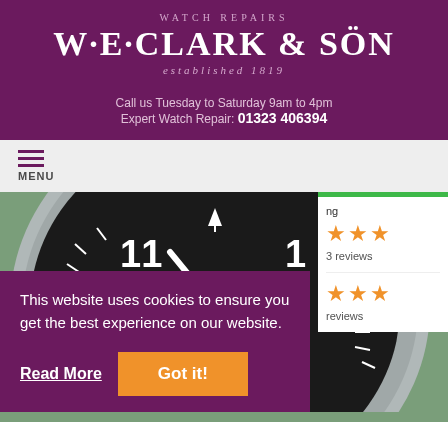WATCH REPAIRS
W·E·CLARK & SÖN
established 1819
Call us Tuesday to Saturday 9am to 4pm
Expert Watch Repair: 01323 406394
[Figure (screenshot): Navigation bar with hamburger menu icon and MENU label]
[Figure (photo): Close-up photo of IWC Schaffhausen pilot watch face showing dial with numbers 10, 11, 1, 2, triangle marker, and hands]
This website uses cookies to ensure you get the best experience on our website.
Read More
Got it!
ng
3 reviews
reviews